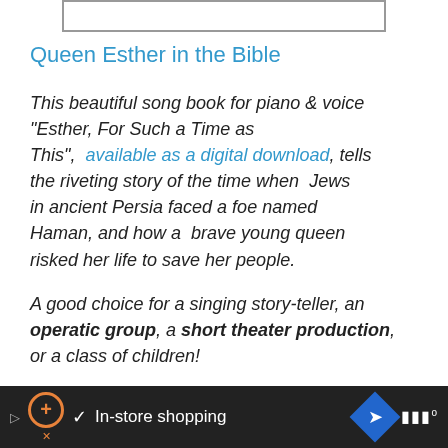[Figure (other): Empty bordered box at top of page]
Queen Esther in the Bible
This beautiful song book for piano & voice "Esther, For Such a Time as This",  available as a digital download, tells the riveting story of the time when  Jews in ancient Persia faced a foe named Haman, and how a  brave young queen risked her life to save her people.
A good choice for a singing story-teller, an operatic group, a short theater production, or a class of children!
In-store shopping